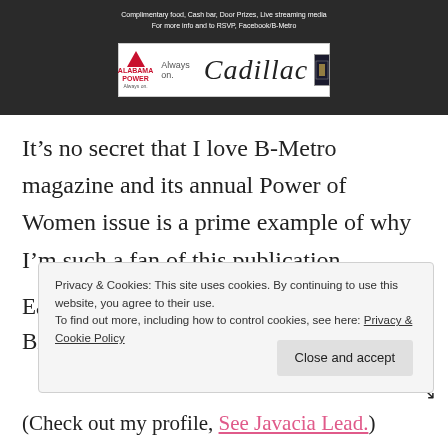[Figure (photo): Dark background banner with sponsor logos: Alabama Power and Cadillac. White text at top reads 'Complimentary food, Cash bar, Door Prizes, Live streaming media' and 'For more info and to RSVP, Facebook/B-Metro'. A white rectangular sponsor bar shows Alabama Power logo on the left, a divider, and 'Cadillac' script text on the right with a small logo.]
It’s no secret that I love B-Metro magazine and its annual Power of Women issue is a prime example of why I’m such a fan of this publication.
Each May B-Metro honors women of Birmingham
Privacy & Cookies: This site uses cookies. By continuing to use this website, you agree to their use.
To find out more, including how to control cookies, see here: Privacy & Cookie Policy
(Check out my profile, See Javacia Lead.)